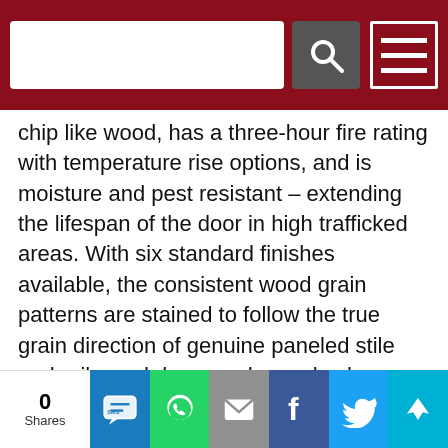[Navigation bar with search field and menu icon]
chip like wood, has a three-hour fire rating with temperature rise options, and is moisture and pest resistant – extending the lifespan of the door in high trafficked areas. With six standard finishes available, the consistent wood grain patterns are stained to follow the true grain direction of genuine paneled stile and rail wood doors and can also be custom color matched to fit virtually any design.
“Stemming from years of design innovation experience, Madera and CURRIStain Smooth Grain Doors give designers the best of both worlds,” said Stacey Callahan, ASSA ABLOY Door Group’s vice president of Marketing and Innovation. “This new offering provides
0 Shares — SMS, WhatsApp, Email, Facebook, Twitter, Crown share buttons